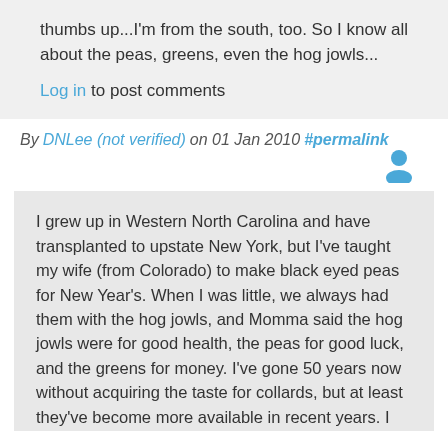thumbs up...I'm from the south, too. So I know all about the peas, greens, even the hog jowls...
Log in to post comments
By DNLee (not verified) on 01 Jan 2010 #permalink
[Figure (illustration): User avatar icon in blue]
I grew up in Western North Carolina and have transplanted to upstate New York, but I've taught my wife (from Colorado) to make black eyed peas for New Year's. When I was little, we always had them with the hog jowls, and Momma said the hog jowls were for good health, the peas for good luck, and the greens for money. I've gone 50 years now without acquiring the taste for collards, but at least they've become more available in recent years. I recall about 15 years ago shopping for them in a suburban Price Chopper. My charming wife was expressing frustration...